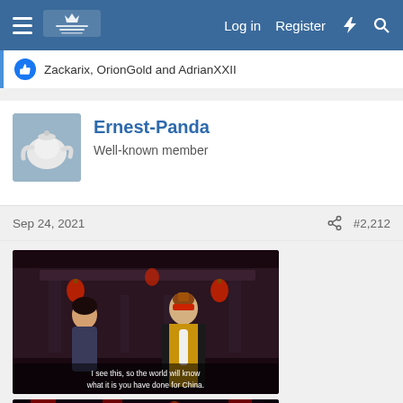Log in  Register
Zackarix, OrionGold and AdrianXXII
Ernest-Panda
Well-known member
Sep 24, 2021   #2,212
[Figure (screenshot): Screenshot of a video game cutscene showing an elderly character in yellow/orange robes gesturing to a younger female character, in a Chinese-themed environment with red lanterns. Subtitle text reads: 'I see this, so the world will know what it is you have done for China']
[Figure (screenshot): Screenshot of a video game cutscene showing an elderly character in yellow/orange and red robes with a tall hat, in a Chinese-themed environment with red pillars and lanterns.]